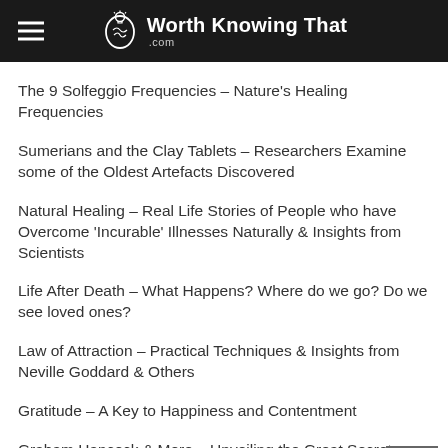Worth Knowing That .com
The 9 Solfeggio Frequencies – Nature's Healing Frequencies
Sumerians and the Clay Tablets – Researchers Examine some of the Oldest Artefacts Discovered
Natural Healing – Real Life Stories of People who have Overcome 'Incurable' Illnesses Naturally & Insights from Scientists
Life After Death – What Happens? Where do we go? Do we see loved ones?
Law of Attraction – Practical Techniques & Insights from Neville Goddard & Others
Gratitude – A Key to Happiness and Contentment
Graham Hancock & More – Unveiling the Great Secrets